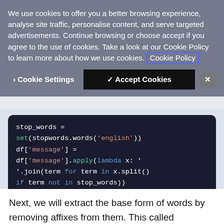We use cookies to offer you a better browsing experience, analyse site traffic, personalise content, and serve targeted advertisements. Continue browsing or choose accept if you agree to the use of cookies. Take a look at our Cookie Policy to learn more about how we use cookies. Cookie Policy
> Cookie Settings  ✓ Accept Cookies  ✕
[Figure (screenshot): Dark-themed code block showing Python code: stop_words = set(stopwords.words('english')) df['message'] = df['message'].apply(lambda x: ' '.join(term for term in x.split() if term not in stop_words))]
Next, we will extract the base form of words by removing affixes from them. This called stemming, as it can be illustrated as cutting down the branches of a tree to its stems.